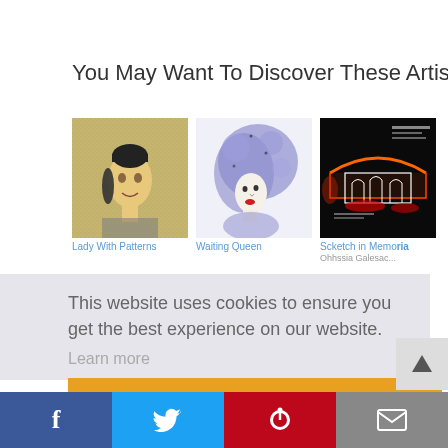You May Want To Discover These Artists?
[Figure (photo): Three artist artwork thumbnails: 'Lady With Patterns' (glitter face portrait), 'Waiting Queen' (blue hair pen drawing), 'Sketch in Memoria' (dark architectural sketch)]
This website uses cookies to ensure you get the best experience on our website.
Learn more
[X] Got it!
[Figure (infographic): Social sharing bar with Facebook (blue), Twitter (light blue), Pinterest (red), and Email (gray) buttons at the bottom of the page]